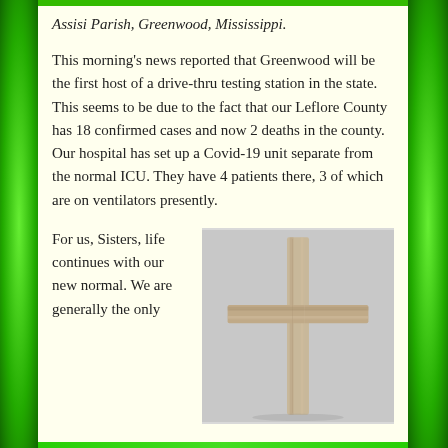Assisi Parish, Greenwood, Mississippi.
This morning's news reported that Greenwood will be the first host of a drive-thru testing station in the state. This seems to be due to the fact that our Leflore County has 18 confirmed cases and now 2 deaths in the county. Our hospital has set up a Covid-19 unit separate from the normal ICU. They have 4 patients there, 3 of which are on ventilators presently.
For us, Sisters, life continues with our new normal. We are generally the only
[Figure (photo): A wooden cross photographed against a light gray/white background. The cross is made of rough, light-colored wood planks.]